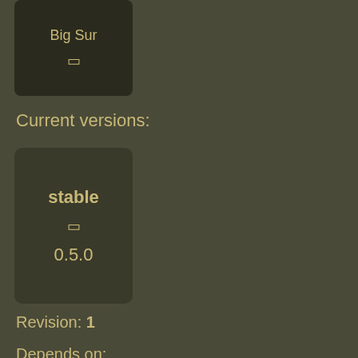[Figure (other): Dark card showing 'Big Sur' title with a small icon/symbol]
Current versions:
[Figure (other): Dark card showing 'stable' label, a small icon/symbol, and version number 0.5.0]
Revision: 1
Depends on:
[Figure (other): Dark card showing dependency: libyaml, version 0.2.5, YAML Parser]